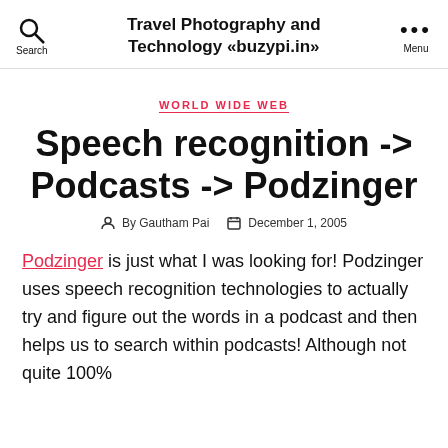Travel Photography and Technology «buzypi.in»
WORLD WIDE WEB
Speech recognition -> Podcasts -> Podzinger
By Gautham Pai  December 1, 2005
Podzinger is just what I was looking for! Podzinger uses speech recognition technologies to actually try and figure out the words in a podcast and then helps us to search within podcasts! Although not quite 100%